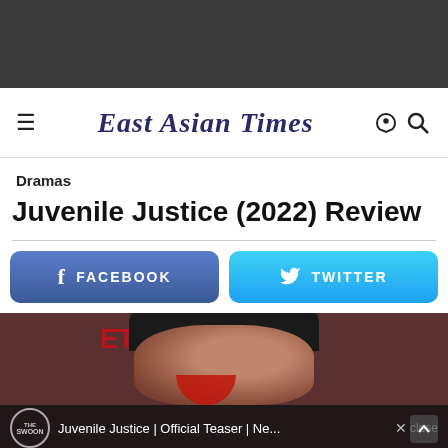[Figure (screenshot): Dark navigation bar area at the top of the page]
East Asian Times
Dramas
Juvenile Justice (2022) Review
[Figure (screenshot): Facebook share button (blue rounded rectangle)]
[Figure (screenshot): Twitter share button (cyan rounded rectangle)]
[Figure (screenshot): Video thumbnail: Juvenile Justice | Official Teaser | Ne... with The Swoon logo and close button overlay]